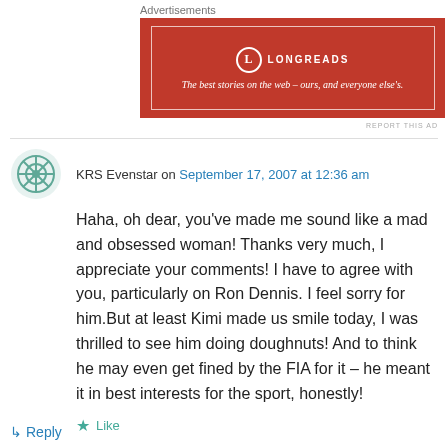Advertisements
[Figure (logo): Longreads advertisement banner — red background with white border, Longreads logo and tagline: The best stories on the web – ours, and everyone else's.]
REPORT THIS AD
KRS Evenstar on September 17, 2007 at 12:36 am
Haha, oh dear, you've made me sound like a mad and obsessed woman! Thanks very much, I appreciate your comments! I have to agree with you, particularly on Ron Dennis. I feel sorry for him.But at least Kimi made us smile today, I was thrilled to see him doing doughnuts! And to think he may even get fined by the FIA for it – he meant it in best interests for the sport, honestly!
Like
Reply